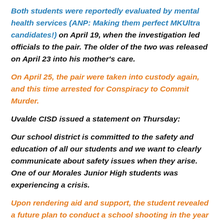Both students were reportedly evaluated by mental health services (ANP: Making them perfect MKUltra candidates!) on April 19, when the investigation led officials to the pair. The older of the two was released on April 23 into his mother's care.
On April 25, the pair were taken into custody again, and this time arrested for Conspiracy to Commit Murder.
Uvalde CISD issued a statement on Thursday:
Our school district is committed to the safety and education of all our students and we want to clearly communicate about safety issues when they arise. One of our Morales Junior High students was experiencing a crisis.
Upon rendering aid and support, the student revealed a future plan to conduct a school shooting in the year of 2022.